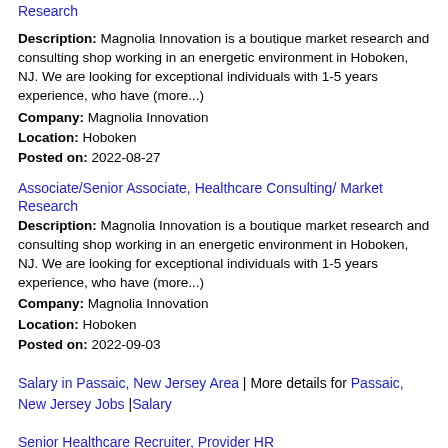Research
Description: Magnolia Innovation is a boutique market research and consulting shop working in an energetic environment in Hoboken, NJ. We are looking for exceptional individuals with 1-5 years experience, who have (more...)
Company: Magnolia Innovation
Location: Hoboken
Posted on: 2022-08-27
Associate/Senior Associate, Healthcare Consulting/ Market Research
Description: Magnolia Innovation is a boutique market research and consulting shop working in an energetic environment in Hoboken, NJ. We are looking for exceptional individuals with 1-5 years experience, who have (more...)
Company: Magnolia Innovation
Location: Hoboken
Posted on: 2022-09-03
Salary in Passaic, New Jersey Area | More details for Passaic, New Jersey Jobs |Salary
Senior Healthcare Recruiter, Provider HR
Description: ResponsibilitiesProvide leaders with advice,